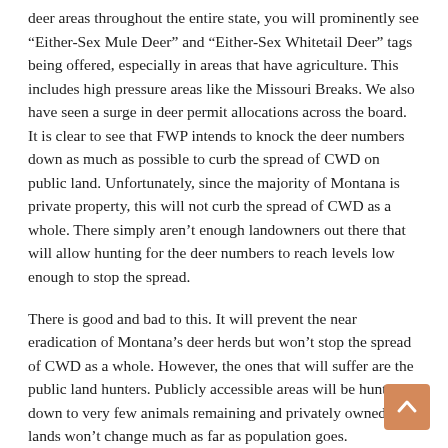deer areas throughout the entire state, you will prominently see “Either-Sex Mule Deer” and “Either-Sex Whitetail Deer” tags being offered, especially in areas that have agriculture. This includes high pressure areas like the Missouri Breaks. We also have seen a surge in deer permit allocations across the board. It is clear to see that FWP intends to knock the deer numbers down as much as possible to curb the spread of CWD on public land. Unfortunately, since the majority of Montana is private property, this will not curb the spread of CWD as a whole. There simply aren’t enough landowners out there that will allow hunting for the deer numbers to reach levels low enough to stop the spread.
There is good and bad to this. It will prevent the near eradication of Montana’s deer herds but won’t stop the spread of CWD as a whole. However, the ones that will suffer are the public land hunters. Publicly accessible areas will be hunted down to very few animals remaining and privately owned lands won’t change much as far as population goes.